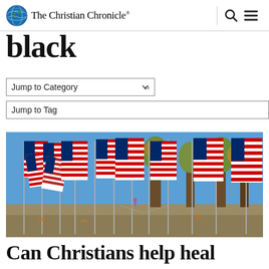The Christian Chronicle
black
Jump to Category
Jump to Tag
[Figure (photo): Rows of American flags on poles in a park with autumn trees and a child on a bicycle in the background.]
Can Christians help heal...